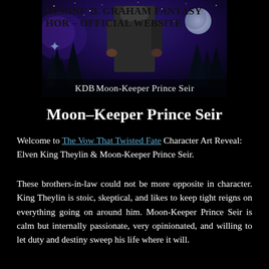[Figure (illustration): Banner image for Catherine D. Graham Fantasy Author official website, showing a figure in dark clothing against a fantasy background with trees, moon, and starry sky. Text overlay reads 'HERINE D. GRAHAM FANTASY HOR – OFFICIAL WEBSITE'. Bottom label reads 'Moon-Keeper Prince Seir'.]
Moon-Keeper Prince Seir
Welcome to The Vow That Twisted Fate Character Art Reveal: Elven King Theylin & Moon-Keeper Prince Seir.
These brothers-in-law could not be more opposite in character. King Theylin is stoic, skeptical, and likes to keep tight reigns on everything going on around him. Moon-Keeper Prince Seir is calm but internally passionate, very opinionated, and willing to let duty and destiny sweep his life where it will.